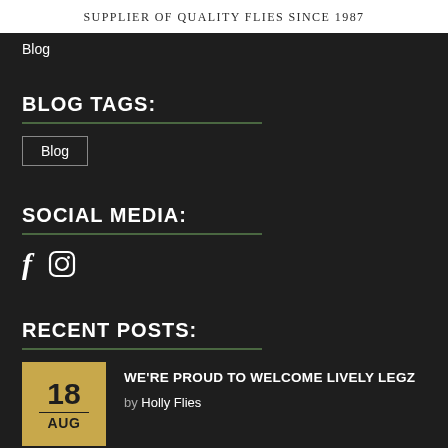Supplier of Quality Flies Since 1987
Blog
BLOG TAGS:
Blog
SOCIAL MEDIA:
[Figure (illustration): Facebook and Instagram social media icons]
RECENT POSTS:
18 AUG — WE'RE PROUD TO WELCOME LIVELY LEGZ — by Holly Flies